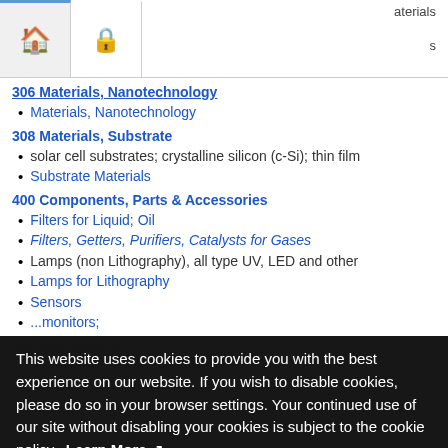Navigation bar with home and lock icons, plus partial text 'aterials' and 's'
306 Materials, Nanotechnology
Materials, Nanotechnology
308 Materials, Substrate
solar cell substrates; crystalline silicon (c-Si); thin film
Substrate Materials
400 Components, Parts & Accessories
Filters for Liquid; Oil
Filters, Getters, Purifiers, Catalysts for Gases
Lamps (non Lithography), all type UV, LED and other
Lamps for Lithography
Sensors
...monitors;
401 Sub-systems
...& other
Optics, Lens Products; Auto-Focus Systems
Measurement and Control Technology
602 Manufacturing Software
Test Programs
700 Manufacturing Services
Burn-in Service
Calibration & Reference Standards
This website uses cookies to provide you with the best experience on our website. If you wish to disable cookies, please do so in your browser settings. Your continued use of our site without disabling your cookies is subject to the cookie policy. Learn More
I agree